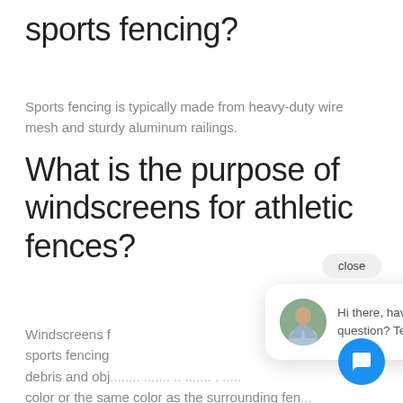sports fencing?
Sports fencing is typically made from heavy-duty wire mesh and sturdy aluminum railings.
What is the purpose of windscreens for athletic fences?
Windscreens f sports fencing debris and obj... They can be either a single... color or the same color as the surrounding fence so they blend in and become more aesthetically pleasing.
[Figure (screenshot): Chat popup widget showing a close button, a circular avatar photo of a man in a suit, and the text 'Hi there, have a question? Text us here.' with a blue circular chat bubble button in the bottom right.]